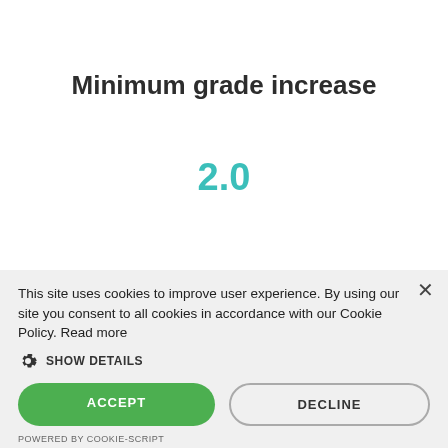Minimum grade increase
2.0
This site uses cookies to improve user experience. By using our site you consent to all cookies in accordance with our Cookie Policy. Read more
SHOW DETAILS
ACCEPT
DECLINE
POWERED BY COOKIE-SCRIPT